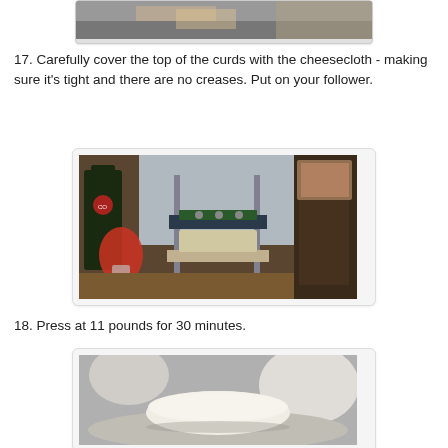[Figure (photo): Partial photo of hands working with cheesecloth, cropped at top]
17. Carefully cover the top of the curds with the cheesecloth - making sure it's tight and there are no creases. Put on your follower.
[Figure (photo): Photo of a cheese press setup on a wooden board with a wine bottle, red flowers in a vase, and a level tool on the press arm]
18. Press at 11 pounds for 30 minutes.
[Figure (photo): Photo of a round white cheese wheel covered with cheesecloth in a cheese mold/press]